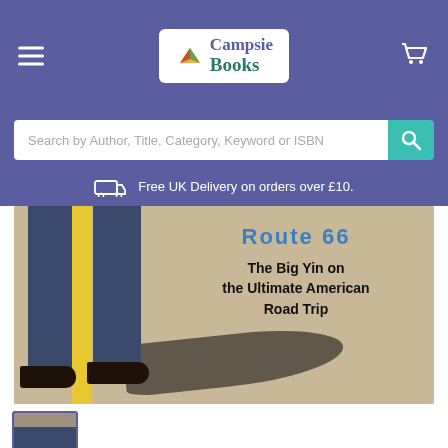Campsie Books
Search by Author, Title, Category, Keyword or ISBN
Free UK Delivery on orders over £10.
[Figure (photo): Book cover for 'Route 66: The Big Yin on the Ultimate American Road Trip' showing a person's legs in jeans and dark shoes standing on a road, with a yellow stripe and cast shadow.]
[Figure (photo): Small thumbnail of the book cover showing a person standing on Route 66.]